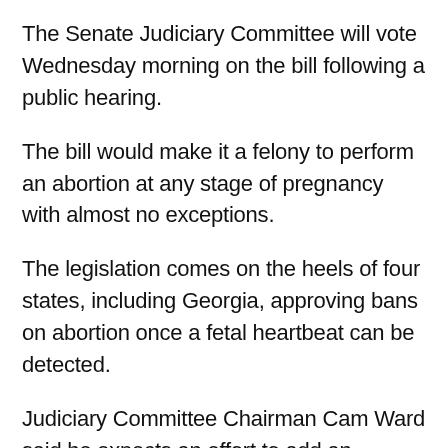The Senate Judiciary Committee will vote Wednesday morning on the bill following a public hearing.
The bill would make it a felony to perform an abortion at any stage of pregnancy with almost no exceptions.
The legislation comes on the heels of four states, including Georgia, approving bans on abortion once a fetal heartbeat can be detected.
Judiciary Committee Chairman Cam Ward said he expects an effort to add an exemption for rape and incest.